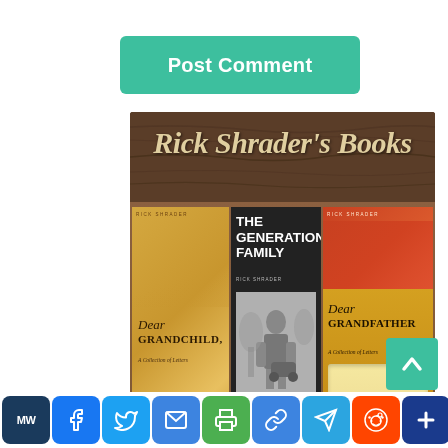[Figure (other): Green 'Post Comment' button]
[Figure (illustration): Rick Shrader's Books promotional banner showing three books: 'Dear Grandchild: A Collection of Letters', 'The Generational Family', and 'Dear Grandfather: A Collection of Letters', displayed against a dark wood background with the title 'Rick Shrader's Books' in large serif italic font.]
[Figure (other): Teal back-to-top arrow button in bottom right corner]
[Figure (other): Social media sharing icons bar: MW (MeetWays), Facebook, Twitter, Mail, Print, Link, Telegram, Reddit, More]